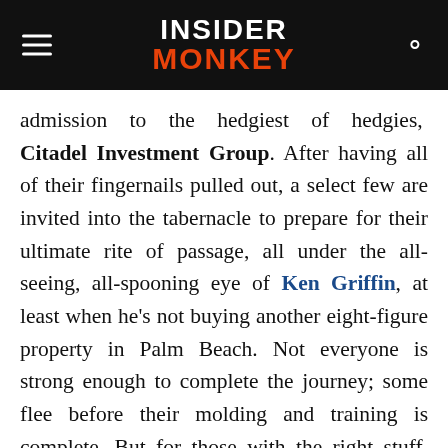INSIDER MONKEY
admission to the hedgiest of hedgies, Citadel Investment Group. After having all of their fingernails pulled out, a select few are invited into the tabernacle to prepare for their ultimate rite of passage, all under the all-seeing, all-spooning eye of Ken Griffin, at least when he’s not buying another eight-figure property in Palm Beach. Not everyone is strong enough to complete the journey; some flee before their molding and training is complete. But for those with the right stuff, and who can survive the months or even years of, let’s call it mentoring, the moment will eventually come: The moment in which they lose Ken Griffin some money, and they are called to the bima to be called to account the next chapter of their discipline